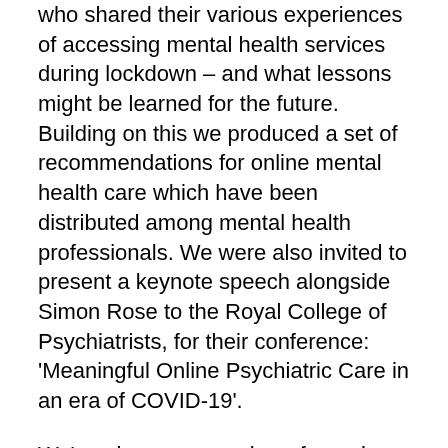who shared their various experiences of accessing mental health services during lockdown – and what lessons might be learned for the future. Building on this we produced a set of recommendations for online mental health care which have been distributed among mental health professionals. We were also invited to present a keynote speech alongside Simon Rose to the Royal College of Psychiatrists, for their conference: 'Meaningful Online Psychiatric Care in an era of COVID-19'.
We've also run a number of popular art projects. We had an Instagram account early on, and Nell produced Quaranzine. Our friend Rachel did a social media project called #pandemink. Ellie has led on MadMakers, including a weekly Craft Club